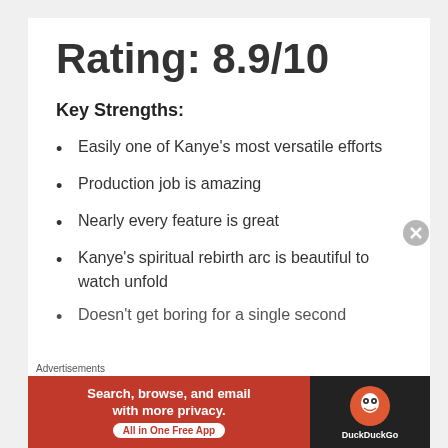Rating: 8.9/10
Key Strengths:
Easily one of Kanye's most versatile efforts
Production job is amazing
Nearly every feature is great
Kanye's spiritual rebirth arc is beautiful to watch unfold
Doesn't get boring for a single second
Advertisements — Search, browse, and email with more privacy. All in One Free App — DuckDuckGo